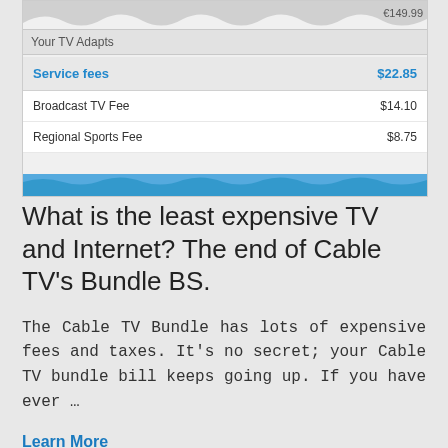[Figure (screenshot): Screenshot of a cable TV bill showing service fees section. Header 'Your TV Adapts' with rows: Service fees $22.85, Broadcast TV Fee $14.10, Regional Sports Fee $8.75. Blue wave bar at bottom.]
What is the least expensive TV and Internet? The end of Cable TV's Bundle BS.
The Cable TV Bundle has lots of expensive fees and taxes. It's no secret; your Cable TV bundle bill keeps going up. If you have ever …
Learn More